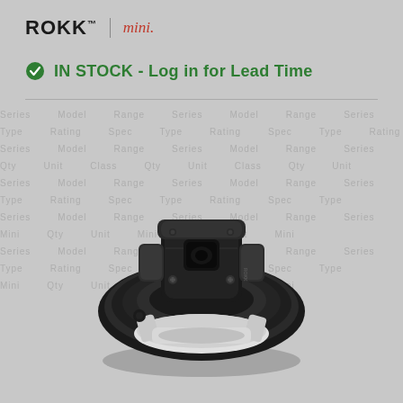ROKK™ | mini.
IN STOCK - Log in for Lead Time
[Figure (photo): Black ROKK mini suction cup mount product photographed from above on a grey watermarked background, showing the locking mechanism and suction cup base.]